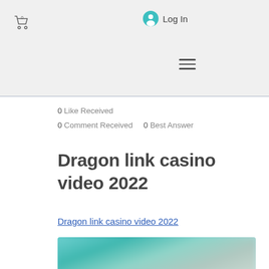0 Cart | Log In | Menu
0 Like Received
0 Comment Received    0 Best Answer
Dragon link casino video 2022
Dragon link casino video 2022
[Figure (photo): Blurred thumbnail image with teal/cyan background colors, partially visible at bottom of page]